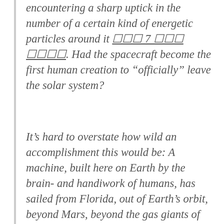encountering a sharp uptick in the number of a certain kind of energetic particles around it [underlined text]. Had the spacecraft become the first human creation to “officially” leave the solar system?
It’s hard to overstate how wild an accomplishment this would be: A machine, built here on Earth by the brain- and handiwork of humans, has sailed from Florida, out of Earth’s orbit, beyond Mars, beyond the gas giants of Jupiter and Saturn, and may now have left the heliosphere — tiny dot in the universe beholder to our sun. Olsview download